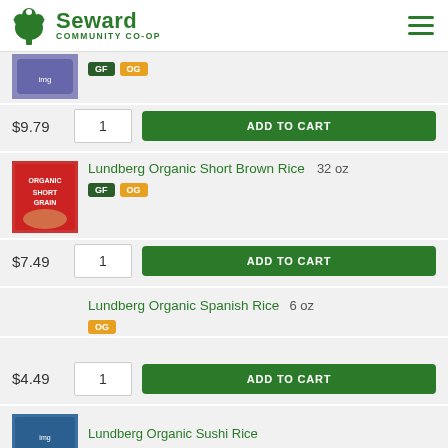Seward Community Co-op
[Figure (photo): Partial product image at top (cut off), with GF and OG badges]
$9.79
ADD TO CART
Lundberg Organic Short Brown Rice  32 oz
$7.49
ADD TO CART
Lundberg Organic Spanish Rice  6 oz
$4.49
ADD TO CART
[Figure (photo): Partial product image at bottom (cut off)]
Lundberg Organic Sushi Rice (partial, cut off)